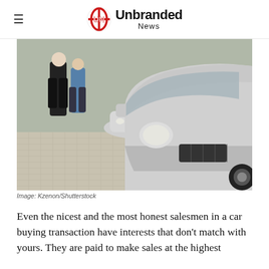Unbranded News
[Figure (photo): Row of silver/white cars lined up at a car dealership lot, viewed from the front at a low angle showing headlights and bumpers, with two people in background standing near the vehicles.]
Image: Kzenon/Shutterstock
Even the nicest and the most honest salesmen in a car buying transaction have interests that don't match with yours. They are paid to make sales at the highest